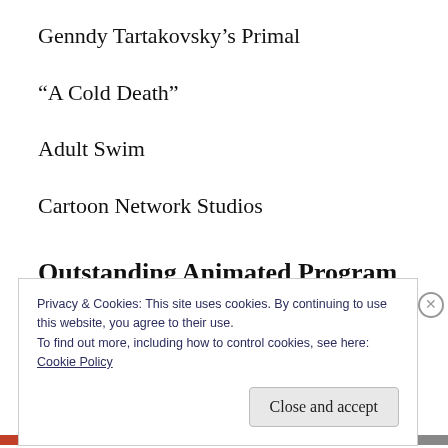Genndy Tartakovsky’s Primal
“A Cold Death”
Adult Swim
Cartoon Network Studios
Outstanding Animated Program
Privacy & Cookies: This site uses cookies. By continuing to use this website, you agree to their use.
To find out more, including how to control cookies, see here:
Cookie Policy
Close and accept